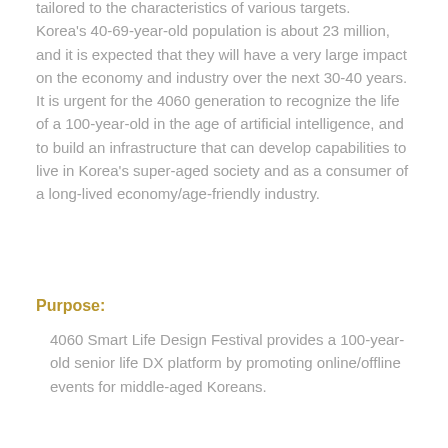tailored to the characteristics of various targets. Korea's 40-69-year-old population is about 23 million, and it is expected that they will have a very large impact on the economy and industry over the next 30-40 years. It is urgent for the 4060 generation to recognize the life of a 100-year-old in the age of artificial intelligence, and to build an infrastructure that can develop capabilities to live in Korea's super-aged society and as a consumer of a long-lived economy/age-friendly industry.
Purpose:
4060 Smart Life Design Festival provides a 100-year-old senior life DX platform by promoting online/offline events for middle-aged Koreans.
Smart life design to use the power of loneliness